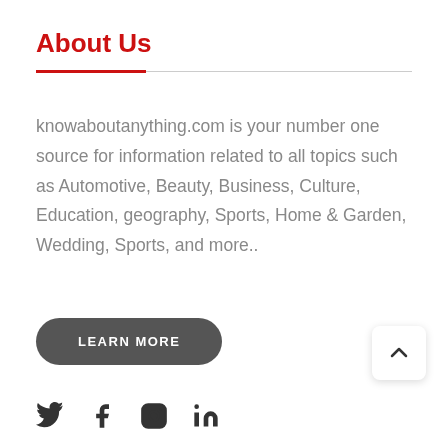About Us
knowaboutanything.com is your number one source for information related to all topics such as Automotive, Beauty, Business, Culture, Education, geography, Sports, Home & Garden, Wedding, Sports, and more..
[Figure (other): LEARN MORE button — dark rounded rectangle button with white uppercase text]
[Figure (other): Back to top chevron button — white rounded square with upward caret]
[Figure (other): Social media icons row: Twitter, Facebook, Instagram, LinkedIn]